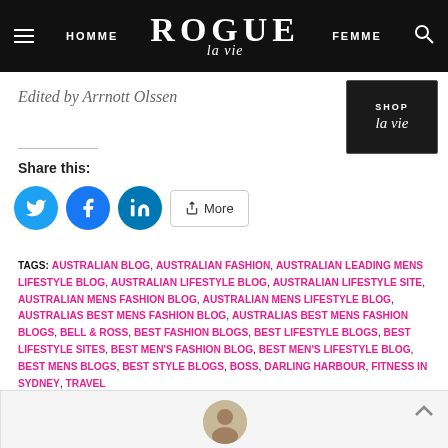HOMME   ROGUE la vie   FEMME
Edited by Arrnott Olssen
Share this:
TAGS: AUSTRALIAN BLOG, AUSTRALIAN FASHION, AUSTRALIAN LEADING MENS LIFESTYLE BLOG, AUSTRALIAN LIFESTYLE BLOG, AUSTRALIAN LIFESTYLE SITE, AUSTRALIAN MENS FASHION BLOG, AUSTRALIAN MENS LIFESTYLE BLOG, AUSTRALIAS BEST MENS FASHION BLOG, AUSTRALIAS BEST MENS FASHION BLOGS, BELL & ROSS, BEST FASHION BLOGS, BEST LIFESTYLE BLOGS, BEST LIFESTYLE SITES, BEST MEN'S FASHION BLOG, BEST MEN'S LIFESTYLE BLOG, BEST MENS BLOGS, BEST STYLE BLOGS, BOSS, DARLING HARBOUR, FITNESS IN SYDNEY, TRAVEL